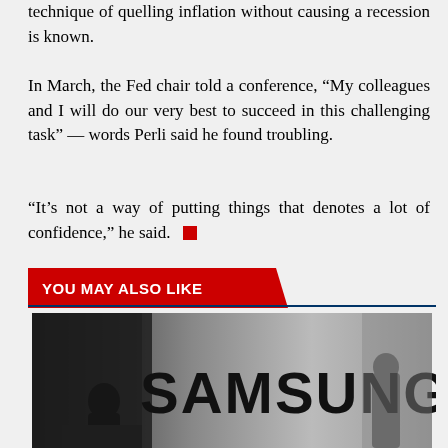technique of quelling inflation without causing a recession is known.
In March, the Fed chair told a conference, “My colleagues and I will do our very best to succeed in this challenging task” — words Perli said he found troubling.
“It’s not a way of putting things that denotes a lot of confidence,” he said.
YOU MAY ALSO LIKE
[Figure (photo): Black and white photo showing a large SAMSUNG sign/logo with silhouettes of people in the background]